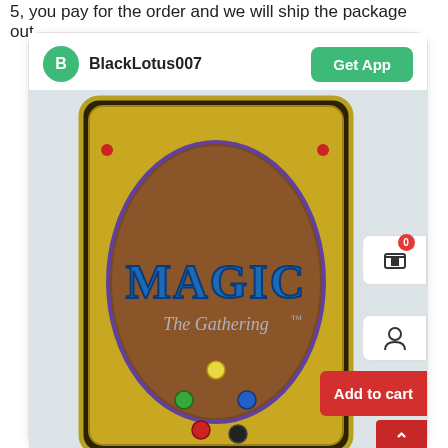5, you pay for the order and we will ship the package out.
[Figure (screenshot): Screenshot of a mobile marketplace listing showing a Magic: The Gathering card back. The interface shows user BlackLotus007 with a green avatar, a Get App button, and the back face of a Magic: The Gathering card featuring the classic brown oval logo design with colored mana symbols. Overlay UI elements include a cart icon with 0 badge, a user icon, an Add to cart button, and a scroll-to-top arrow.]